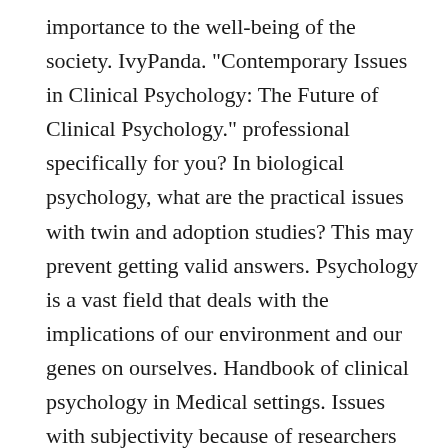importance to the well-being of the society. IvyPanda. "Contemporary Issues in Clinical Psychology: The Future of Clinical Psychology." professional specifically for you? In biological psychology, what are the practical issues with twin and adoption studies? This may prevent getting valid answers. Psychology is a vast field that deals with the implications of our environment and our genes on ourselves. Handbook of clinical psychology in Medical settings. Issues with subjectivity because of researchers choosing what themes to look for and what counds as each behaviour. We also use third-party cookies that help us analyze and understand how you use this website. It is important to note also that, government politics play a central role in determining the nature of benefits that governments and private health institutions offer medical practitioners hence, the increased control on health provision is really likely to affect clinical psychologist, for research shows that their duties are likely to exceed their pay. This website uses cookies to improve your experience